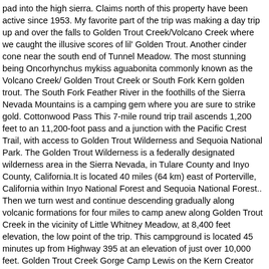pad into the high sierra. Claims north of this property have been active since 1953. My favorite part of the trip was making a day trip up and over the falls to Golden Trout Creek/Volcano Creek where we caught the illusive scores of lil' Golden Trout. Another cinder cone near the south end of Tunnel Meadow. The most stunning being Oncorhynchus mykiss aguabonita commonly known as the Volcano Creek/ Golden Trout Creek or South Fork Kern golden trout. The South Fork Feather River in the foothills of the Sierra Nevada Mountains is a camping gem where you are sure to strike gold. Cottonwood Pass This 7-mile round trip trail ascends 1,200 feet to an 11,200-foot pass and a junction with the Pacific Crest Trail, with access to Golden Trout Wilderness and Sequoia National Park. The Golden Trout Wilderness is a federally designated wilderness area in the Sierra Nevada, in Tulare County and Inyo County, California.It is located 40 miles (64 km) east of Porterville, California within Inyo National Forest and Sequoia National Forest.. Then we turn west and continue descending gradually along volcanic formations for four miles to camp anew along Golden Trout Creek in the vicinity of Little Whitney Meadow, at 8,400 feet elevation, the low point of the trip. This campground is located 45 minutes up from Highway 395 at an elevation of just over 10,000 feet. Golden Trout Creek Gorge Camp Lewis on the Kern Creator Burton Frasher Sr. 1888-1955 Date Created and/or Issued 1927 Publication Information Pomona Public Library Contributing Institution Pomona Public Library Collection Frasher Foto Postcard Collection Rights Information The